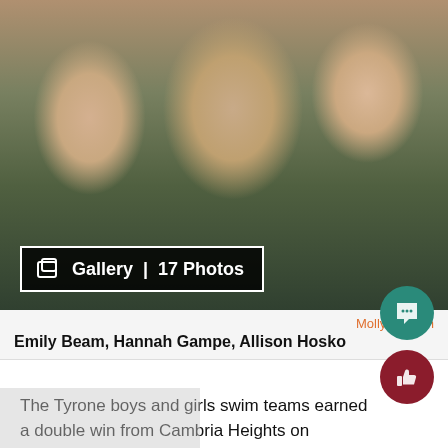[Figure (photo): Three young female swimmers smiling and looking upward, wearing swimsuit attire. A gallery badge overlay reads 'Gallery | 17 Photos'.]
Molly Fadgen
Emily Beam, Hannah Gampe, Allison Hosko
The Tyrone boys and girls swim teams earned a double win from Cambria Heights on Thursday night. The boys posted a strong score of 103-53, while the girls won a close 93-74 meet.
“We had good swims and good races,” said Coach Tom Getz. stepped up and beat swimmers when needed.”
Click on the link below to see the official time sheet: